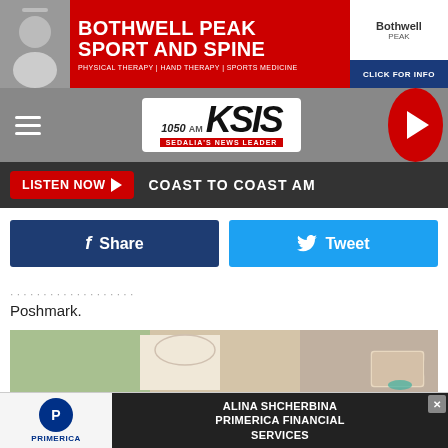[Figure (photo): Bothwell Peak Sport and Spine advertisement banner with red background, bold white text, and logo]
KSIS 1050 AM – Sedalia's News Leader
LISTEN NOW ▶  COAST TO COAST AM
f Share   🐦 Tweet
Poshmark.
[Figure (photo): Woman wearing white tank top, green cardigan, and necklace, holding a glass mug]
[Figure (photo): Primerica advertisement – Alina Shcherbina Primerica Financial Services]